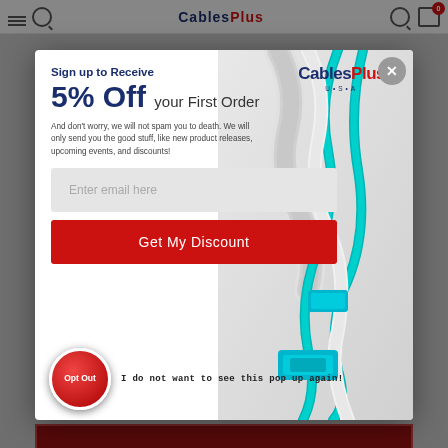[Figure (screenshot): CablesPlus USA website popup modal offering 5% off first order for email signup. Contains logo, discount text, body text, email input field, discount button, and opt-out option with teal fiber optic cables in background.]
Sign up to Receive
5% Off your First Order
And don't worry, we will not spam you to death. We will only send you the good stuff, like new product releases, upcoming events, and discounts!
Enter email here
Get My Discount
Opt Out
I do not want to see this pop up again!